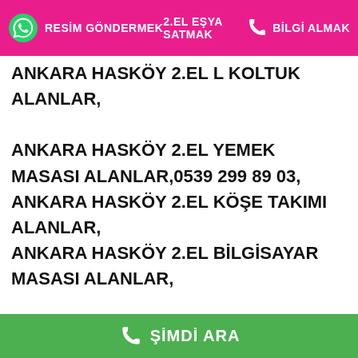[Figure (infographic): Top pink/magenta banner with WhatsApp icon and label 'RESİM GÖNDERMEK', center text '2.EL EŞYA SATMAK', right phone icon and label 'BİLGİ ALMAK']
ANKARA HASKÖY 2.EL L KOLTUK ALANLAR,

ANKARA HASKÖY 2.EL YEMEK MASASI ALANLAR,0539 299 89 03,
ANKARA HASKÖY 2.EL KÖŞE TAKIMI ALANLAR,
ANKARA HASKÖY 2.EL BİLGİSAYAR MASASI ALANLAR,

ANKARA HASKÖY 2.EL KİTAPLIK
[Figure (infographic): Bottom green bar with phone icon and text 'ŞİMDİ ARA']